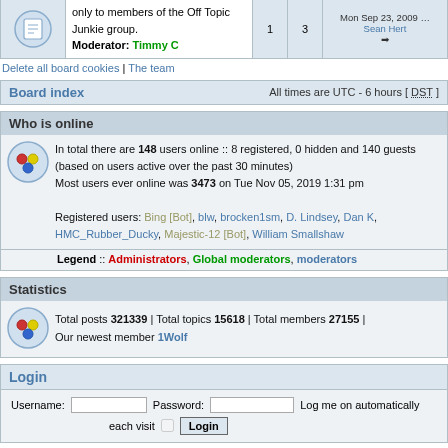| [icon] | only to members of the Off Topic Junkie group.
Moderator: Timmy C | 1 | 3 | Mon Sep 23, 2009 … Sean Hert → |
Delete all board cookies | The team
Board index — All times are UTC - 6 hours [ DST ]
Who is online
In total there are 148 users online :: 8 registered, 0 hidden and 140 guests (based on users active over the past 30 minutes)
Most users ever online was 3473 on Tue Nov 05, 2019 1:31 pm

Registered users: Bing [Bot], blw, brocken1sm, D. Lindsey, Dan K, HMC_Rubber_Ducky, Majestic-12 [Bot], William Smallshaw
Legend :: Administrators, Global moderators, moderators
Statistics
Total posts 321339 | Total topics 15618 | Total members 27155 | Our newest member 1Wolf
Login
Username: [input] Password: [input] Log me on automatically each visit [checkbox] Login
Unread posts | No unread posts | Forum locked
Powered by phpBB® Forum Software © phpBB Group